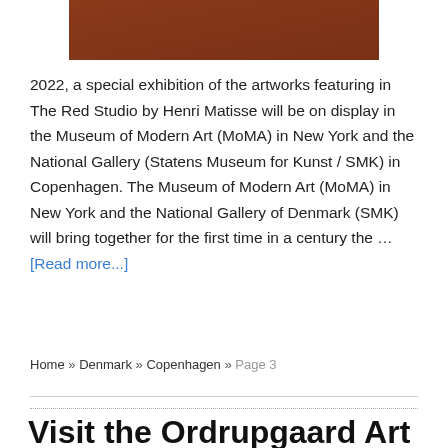[Figure (photo): Partial view of artworks on a red/brown background, including a white circular plate and a small framed item]
2022, a special exhibition of the artworks featuring in The Red Studio by Henri Matisse will be on display in the Museum of Modern Art (MoMA) in New York and the National Gallery (Statens Museum for Kunst / SMK) in Copenhagen. The Museum of Modern Art (MoMA) in New York and the National Gallery of Denmark (SMK) will bring together for the first time in a century the … [Read more...]
Home » Denmark » Copenhagen » Page 3
Visit the Ordrupgaard Art